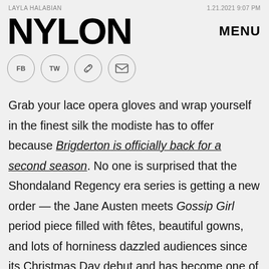LAYLA HALABIAN | 1.21.2021 9:07 PM
NYLON
Grab your lace opera gloves and wrap yourself in the finest silk the modiste has to offer because Brigderton is officially back for a second season. No one is surprised that the Shondaland Regency era series is getting a new order — the Jane Austen meets Gossip Girl period piece filled with fêtes, beautiful gowns, and lots of horniness dazzled audiences since its Christmas Day debut and has become one of Netflix's most popular exports.